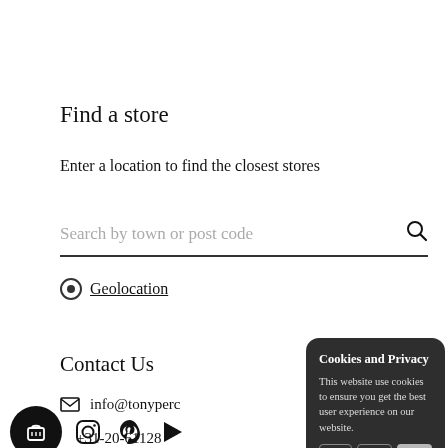Find a store
Enter a location to find the closest stores
Search by town or post code
Geolocation
Contact Us
info@tonyperc...
+31-20-61128...
Cookies and Privacy
This website use cookies to ensure you get the best user experience on our website.
✓ Accept   Decline   Privacy Policy